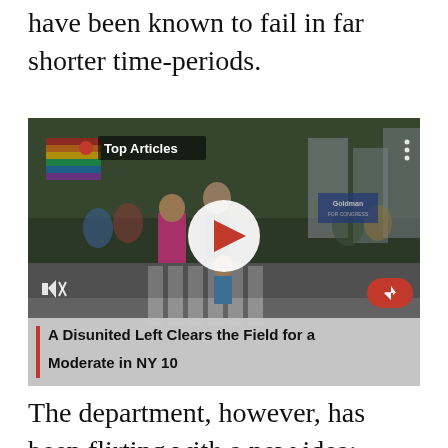have been known to fail in far shorter time-periods.
[Figure (photo): A video thumbnail showing a Pride parade scene with people marching, rainbow flags, and a 'Top Articles' overlay label. A white play button circle is centered on the image. An arrow button appears bottom-right.]
A Disunited Left Clears the Field for a Moderate in NY 10
The department, however, has been flirting with a new idea: Declare Rocky Flats a